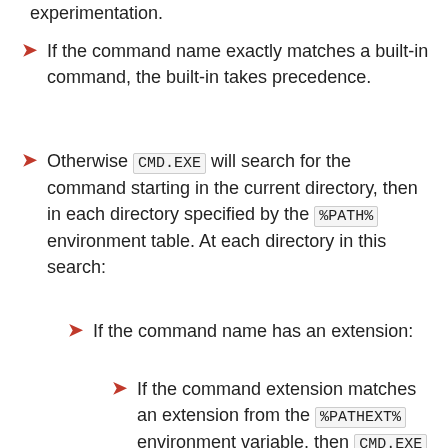experimentation.
If the command name exactly matches a built-in command, the built-in takes precedence.
Otherwise CMD.EXE will search for the command starting in the current directory, then in each directory specified by the %PATH% environment table. At each directory in this search:
If the command name has an extension:
If the command extension matches an extension from the %PATHEXT% environment variable, then CMD.EXE will attempt to execute the file.
If the command name extension is associated with a particular program, then that program is invoked, with this